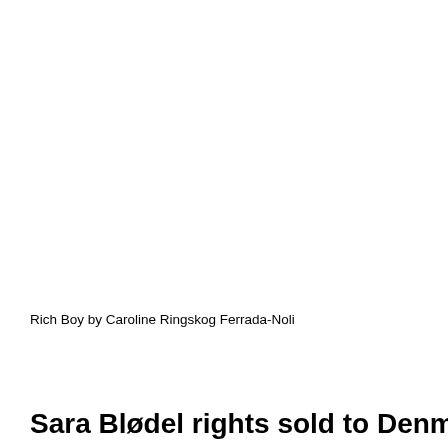Rich Boy by Caroline Ringskog Ferrada-Noli
Sara Blødel rights sold to Denmark